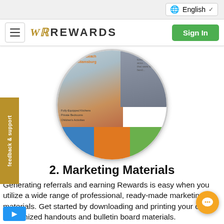English (language selector)
WR Rewards — Sign In
[Figure (illustration): Circular promotional image showing a happy family (parents and child) overlaid with resort location text (Myrtle Beach, Williamsburg), an ENJOY amenities section, interior room photo, and colored brochure strips at the bottom]
2. Marketing Materials
Generating referrals and earning Rewards is easy when you utilize a wide range of professional, ready-made marketing materials. Get started by downloading and printing your own customized handouts and bulletin board materials.